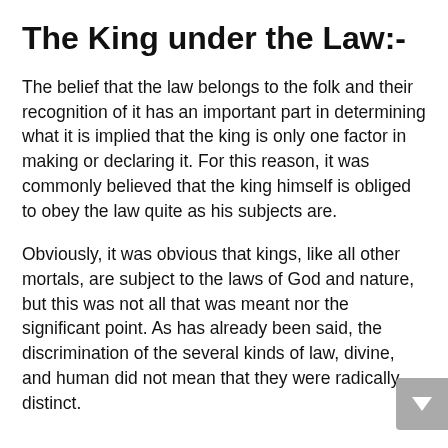The King under the Law:-
The belief that the law belongs to the folk and their recognition of it has an important part in determining what it is implied that the king is only one factor in making or declaring it. For this reason, it was commonly believed that the king himself is obliged to obey the law quite as his subjects are.
Obviously, it was obvious that kings, like all other mortals, are subject to the laws of God and nature, but this was not all that was meant nor the significant point. As has already been said, the discrimination of the several kinds of law, divine, and human did not mean that they were radically distinct.